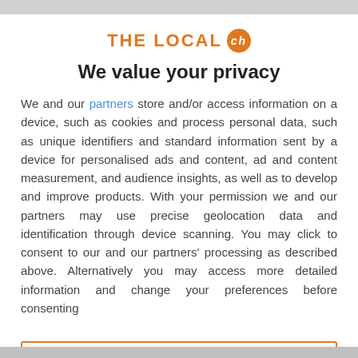[Figure (logo): THE LOCAL ch logo — orange bold text with a circular orange badge containing italic 'ch']
We value your privacy
We and our partners store and/or access information on a device, such as cookies and process personal data, such as unique identifiers and standard information sent by a device for personalised ads and content, ad and content measurement, and audience insights, as well as to develop and improve products. With your permission we and our partners may use precise geolocation data and identification through device scanning. You may click to consent to our and our partners' processing as described above. Alternatively you may access more detailed information and change your preferences before consenting
ACCEPT
MORE OPTIONS